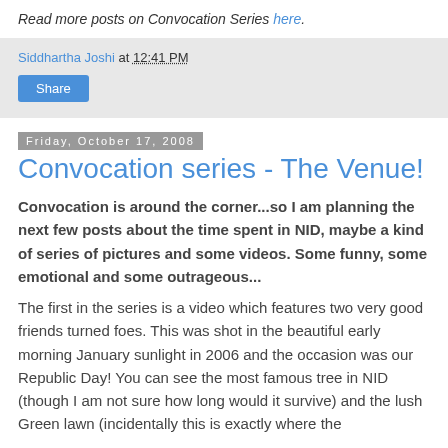Read more posts on Convocation Series here.
Siddhartha Joshi at 12:41 PM
Share
Friday, October 17, 2008
Convocation series - The Venue!
Convocation is around the corner...so I am planning the next few posts about the time spent in NID, maybe a kind of series of pictures and some videos. Some funny, some emotional and some outrageous...
The first in the series is a video which features two very good friends turned foes. This was shot in the beautiful early morning January sunlight in 2006 and the occasion was our Republic Day! You can see the most famous tree in NID (though I am not sure how long would it survive) and the lush Green lawn (incidentally this is exactly where the